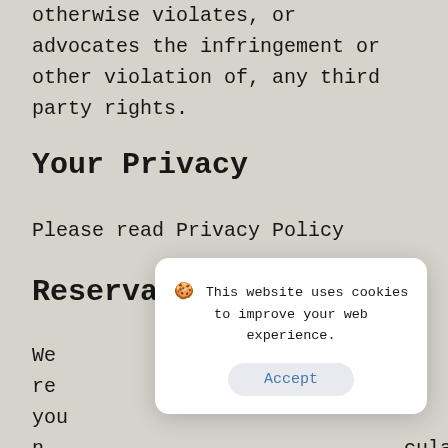otherwise violates, or advocates the infringement or other violation of, any third party rights.
Your Privacy
Please read Privacy Policy
Reservation of Rights
We re[serve the right to remove cont]hat you m[ay post on the Website, includ]cular link [s, at our sole discretion, and ]to imme[diately terminate your access to o]ur Website upon request. We also reserve the right to amen these terms and conditions and it's this is about
[Figure (screenshot): Cookie consent dialog overlay with cookie emoji, text 'This website uses cookies to improve your web experience.' and an Accept button]